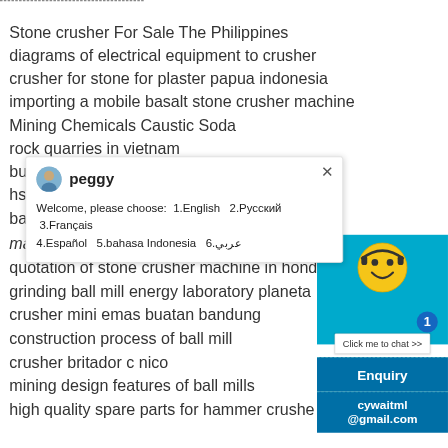Stone crusher For Sale The Philippines
diagrams of electrical equipment to crusher
crusher for stone for plaster papua indonesia
importing a mobile basalt stone crusher machine
Mining Chemicals Caustic Soda
rock quarries in vietnam
bu[truncated]
hs[truncated]
ba[truncated]
machine for crushing stone australia
quotation of stone crusher machine in hond[truncated]
grinding ball mill energy laboratory planeta[truncated]
crusher mini emas buatan bandung
construction process of ball mill
crusher britador c nico
mining design features of ball mills
high quality spare parts for hammer crushe[truncated]
[Figure (screenshot): Chat popup with avatar of agent named 'peggy', close button (×), and message: Welcome, please choose: 1.English  2.Русский 3.Français 4.Español  5.bahasa Indonesia  6.عربي]
[Figure (screenshot): Right sidebar showing chat widget with smiley face avatar, notification badge '1', 'Click me to chat >>' button, Enquiry section, and cywaitml@gmail.com email]